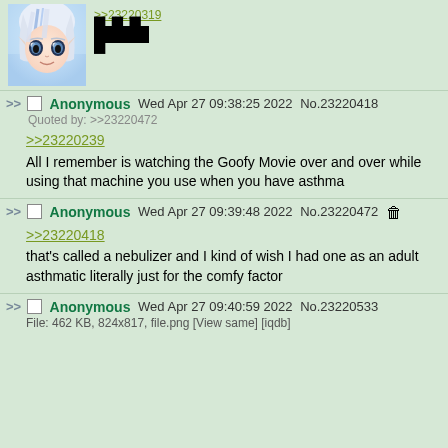[Figure (screenshot): 4chan imageboard thread screenshot showing anime girl image and forum posts]
>>23220319 [redacted]
Anonymous Wed Apr 27 09:38:25 2022 No.23220418
Quoted by: >>23220472
>>23220239
All I remember is watching the Goofy Movie over and over while using that machine you use when you have asthma
Anonymous Wed Apr 27 09:39:48 2022 No.23220472
>>23220418
that's called a nebulizer and I kind of wish I had one as an adult asthmatic literally just for the comfy factor
Anonymous Wed Apr 27 09:40:59 2022 No.23220533
File: 462 KB, 824x817, file.png [View same] [iqdb]